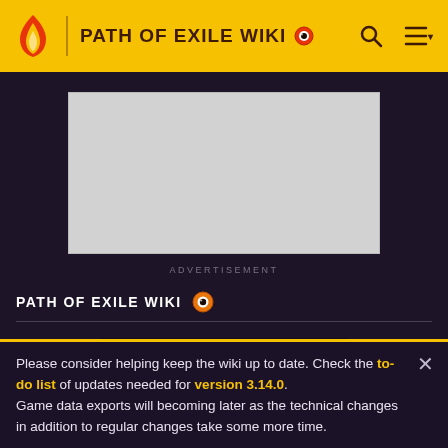PATH OF EXILE WIKI
[Figure (screenshot): Advertisement placeholder box]
ADVERTISEMENT
PATH OF EXILE WIKI
Waypoint
[Figure (photo): Partial game screenshot showing dark fantasy scene]
Please consider helping keep the wiki up to date. Check the to-do list of updates needed for version 3.14.0. Game data exports will becoming later as the technical changes in addition to regular changes take some more time.